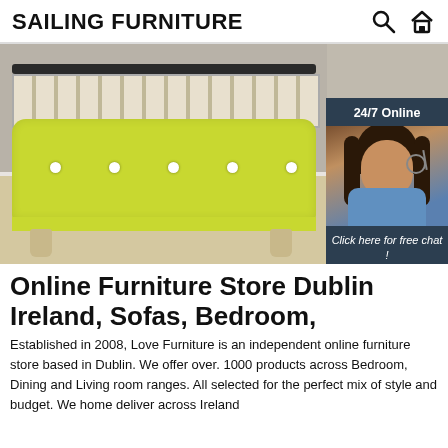SAILING FURNITURE
[Figure (photo): Yellow upholstered bed frame with button tufting and wooden legs, shown without mattress. Overlaid with a 24/7 online chat widget featuring a female agent with headset, 'Click here for free chat!' text, and an orange QUOTATION button.]
Online Furniture Store Dublin Ireland, Sofas, Bedroom,
Established in 2008, Love Furniture is an independent online furniture store based in Dublin. We offer over. 1000 products across Bedroom, Dining and Living room ranges. All selected for the perfect mix of style and budget. We home deliver across Ireland